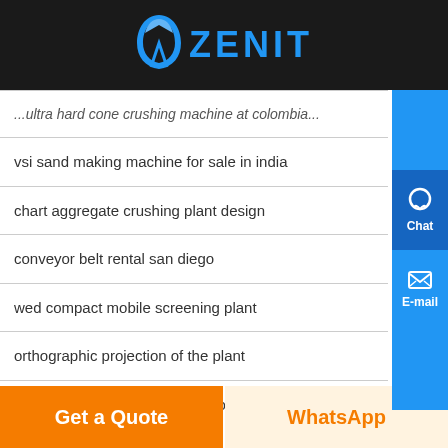[Figure (logo): Zenit company logo with blue arch icon and blue ZENIT text on dark background]
...ultra hard cone crushing machine at colombia...
vsi sand making machine for sale in india
chart aggregate crushing plant design
conveyor belt rental san diego
wed compact mobile screening plant
orthographic projection of the plant
vibromagnetic separator for phosphate direct factory l9nd3
individual individual sells material crushing
mobile mobile crusher for railway ballsat
granite quarry shoping centers
Get a Quote
WhatsApp